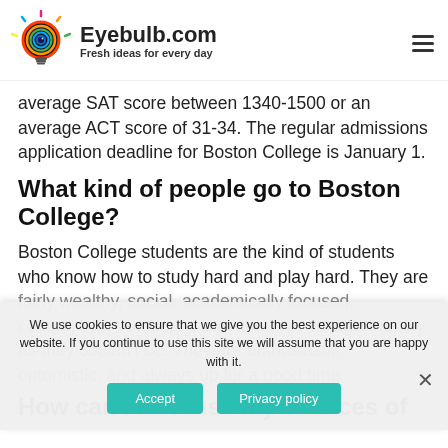Eyebulb.com — Fresh ideas for every day
average SAT score between 1340-1500 or an average ACT score of 31-34. The regular admissions application deadline for Boston College is January 1.
What kind of people go to Boston College?
Boston College students are the kind of students who know how to study hard and play hard. They are fairly wealthy, social, academically focused, competitive, outdoorsy, and about as college-friendly as they could be. They are enthusiastic, optomistic, and always up for a good time.
How can I increase my chances of
We use cookies to ensure that we give you the best experience on our website. If you continue to use this site we will assume that you are happy with it.